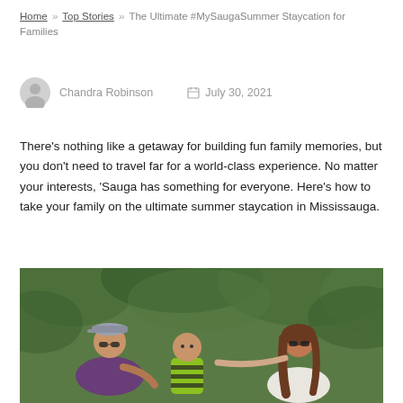Home » Top Stories » The Ultimate #MySaugaSummer Staycation for Families
Chandra Robinson   July 30, 2021
There's nothing like a getaway for building fun family memories, but you don't need to travel far for a world-class experience. No matter your interests, 'Sauga has something for everyone. Here's how to take your family on the ultimate summer staycation in Mississauga.
[Figure (photo): A family of three — a father wearing a cap and sunglasses, a toddler in a striped shirt, and a mother with sunglasses and long hair — outdoors in a green leafy setting.]